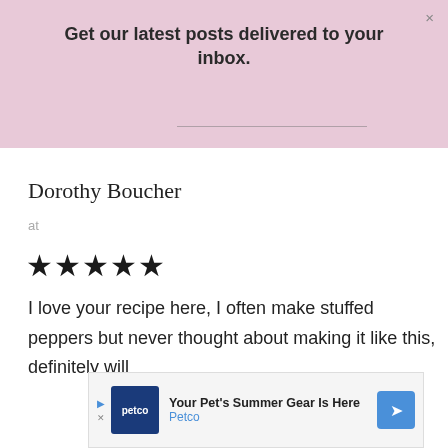Get our latest posts delivered to your inbox.
Dorothy Boucher
at
★★★★★
I love your recipe here, I often make stuffed peppers but never thought about making it like this, definitely will
[Figure (other): Petco advertisement banner: 'Your Pet's Summer Gear Is Here' with Petco logo and blue arrow icon]